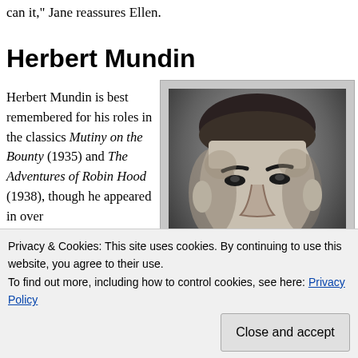can it," Jane reassures Ellen.
Herbert Mundin
Herbert Mundin is best remembered for his roles in the classics Mutiny on the Bounty (1935) and The Adventures of Robin Hood (1938), though he appeared in over
[Figure (photo): Black and white portrait photograph of Herbert Mundin, showing a middle-aged man with dark hair and a serious expression, looking slightly to the side.]
Privacy & Cookies: This site uses cookies. By continuing to use this website, you agree to their use.
To find out more, including how to control cookies, see here: Privacy Policy
Close and accept
(1935), Tarzan